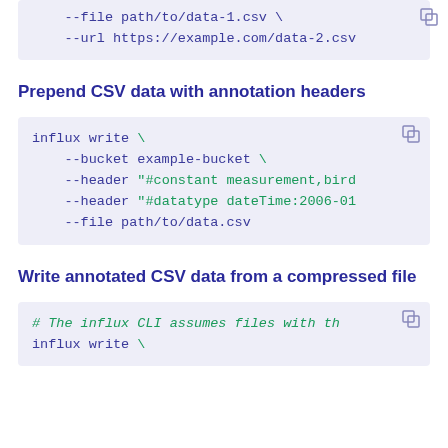--file path/to/data-1.csv \
    --url https://example.com/data-2.csv
Prepend CSV data with annotation headers
influx write \
    --bucket example-bucket \
    --header "#constant measurement,bird
    --header "#datatype dateTime:2006-01
    --file path/to/data.csv
Write annotated CSV data from a compressed file
# The influx CLI assumes files with th
influx write \